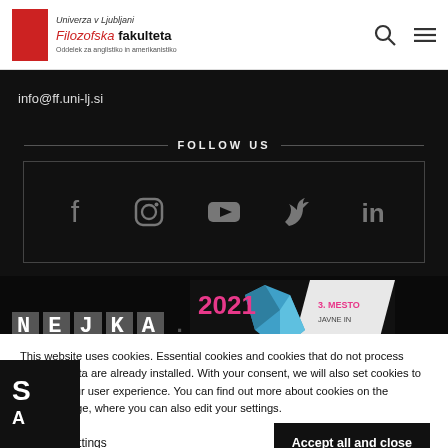Univerza v Ljubljani Filozofska fakulteta Oddelek za anglistiko in amerikanistiko
info@ff.uni-lj.si
FOLLOW US
[Figure (infographic): Social media icons: Facebook, Instagram, YouTube, Twitter, LinkedIn inside a bordered box]
[Figure (infographic): Award graphic showing 2021, 3. MESTO, JAVNE IN with blue crystal and white banner]
This website uses cookies. Essential cookies and cookies that do not process personal data are already installed. With your consent, we will also set cookies to improve your user experience. You can find out more about cookies on the Cookies page, where you can also edit your settings.
Change settings
Accept all and close